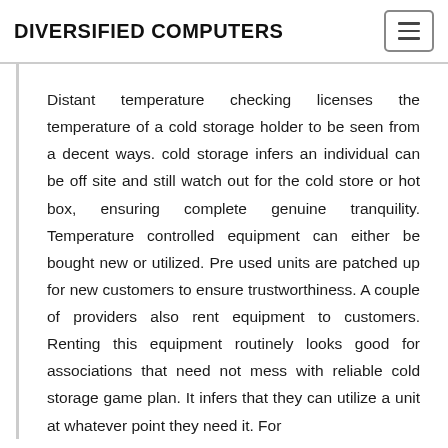DIVERSIFIED COMPUTERS
Distant temperature checking licenses the temperature of a cold storage holder to be seen from a decent ways. cold storage infers an individual can be off site and still watch out for the cold store or hot box, ensuring complete genuine tranquility. Temperature controlled equipment can either be bought new or utilized. Pre used units are patched up for new customers to ensure trustworthiness. A couple of providers also rent equipment to customers. Renting this equipment routinely looks good for associations that need not mess with reliable cold storage game plan. It infers that they can utilize a unit at whatever point they need it. For